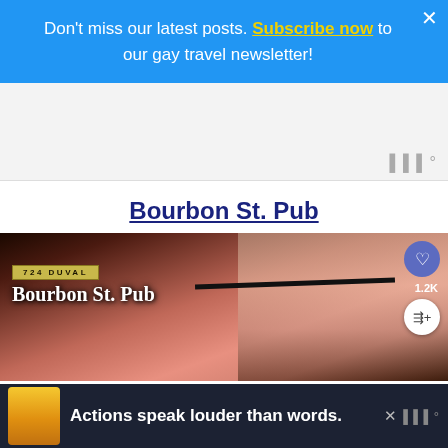Don't miss our latest posts. Subscribe now to our gay travel newsletter!
[Figure (screenshot): Gray advertisement placeholder area with watermark icon in bottom-right corner]
Bourbon St. Pub
[Figure (photo): Nighttime photo of Bourbon St. Pub sign at 724 Duval, with pink/red lit building in background. Heart favorite button and share button visible on right side with 1.2K count.]
Actions speak louder than words.